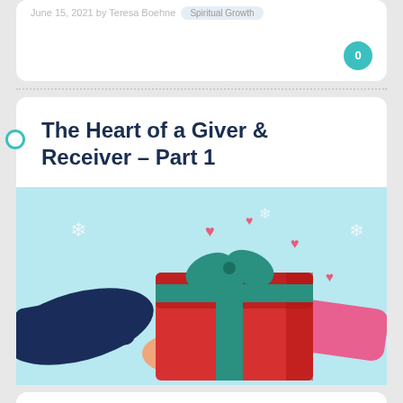June 15, 2021 by Teresa Boehne   Spiritual Growth
The Heart of a Giver & Receiver – Part 1
[Figure (illustration): Illustration of two hands exchanging a red gift box with a green ribbon and bow, set against a light blue background with snowflakes and pink hearts floating around.]
I have an Aunt who sends birthday cards to